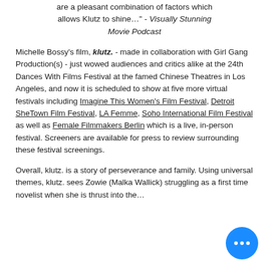are a pleasant combination of factors which allows Klutz to shine…" - Visually Stunning Movie Podcast
Michelle Bossy's film, klutz. - made in collaboration with Girl Gang Production(s) - just wowed audiences and critics alike at the 24th Dances With Films Festival at the famed Chinese Theatres in Los Angeles, and now it is scheduled to show at five more virtual festivals including Imagine This Women's Film Festival, Detroit SheTown Film Festival, LA Femme, Soho International Film Festival as well as Female Filmmakers Berlin which is a live, in-person festival. Screeners are available for press to review surrounding these festival screenings.
Overall, klutz. is a story of perseverance and family. Using universal themes, klutz. sees Zowie (Malka Wallick) struggling as a first time novelist when she is thrust into the...